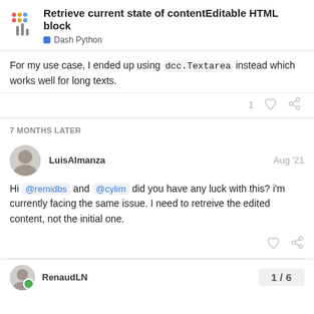Retrieve current state of contentEditable HTML block — Dash Python
For my use case, I ended up using dcc.Textarea instead which works well for long texts.
7 MONTHS LATER
LuisAlmanza  Aug '21
Hi @remidbs and @cylim did you have any luck with this? i'm currently facing the same issue. I need to retreive the edited content, not the initial one.
RenaudLN  1 / 6